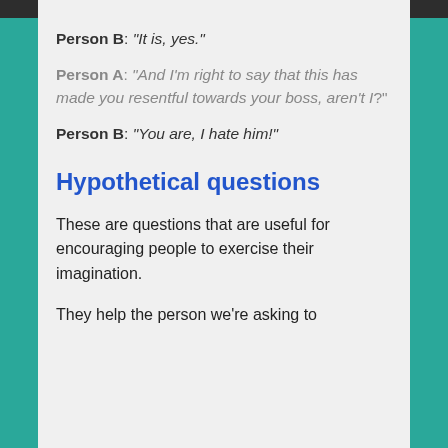Person B: "It is, yes."
Person A: "And I'm right to say that this has made you resentful towards your boss, aren't I?"
Person B: "You are, I hate him!"
Hypothetical questions
These are questions that are useful for encouraging people to exercise their imagination.
They help the person we're asking to